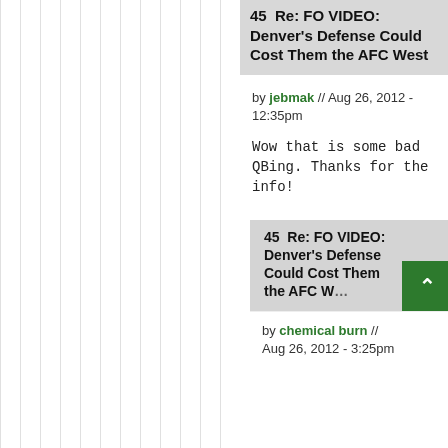45  Re: FO VIDEO: Denver's Defense Could Cost Them the AFC West
by jebmak // Aug 26, 2012 - 12:35pm
Wow that is some bad QBing. Thanks for the info!
45  Re: FO VIDEO: Denver's Defense Could Cost Them the AFC W...
by chemical burn // Aug 26, 2012 - 3:25pm